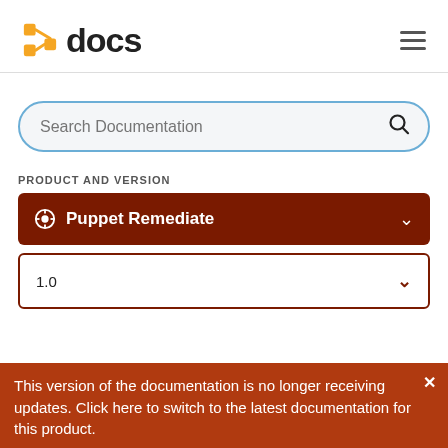[Figure (logo): Puppet docs logo: orange node graph icon followed by bold 'docs' text in dark gray]
Search Documentation
PRODUCT AND VERSION
Puppet Remediate
1.0
This version of the documentation is no longer receiving updates. Click here to switch to the latest documentation for this product.